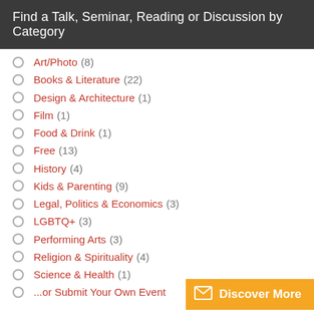Find a Talk, Seminar, Reading or Discussion by Category
Art/Photo (8)
Books & Literature (22)
Design & Architecture (1)
Film (1)
Food & Drink (1)
Free (13)
History (4)
Kids & Parenting (9)
Legal, Politics & Economics (3)
LGBTQ+ (3)
Performing Arts (3)
Religion & Spirituality (4)
Science & Health (1)
...or Submit Your Own Event
Discover More